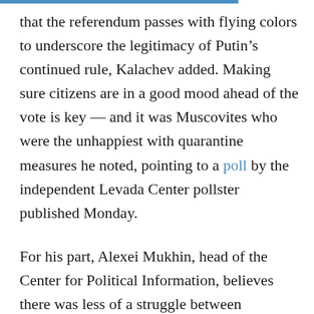that the referendum passes with flying colors to underscore the legitimacy of Putin's continued rule, Kalachev added. Making sure citizens are in a good mood ahead of the vote is key — and it was Muscovites who were the unhappiest with quarantine measures he noted, pointing to a poll by the independent Levada Center pollster published Monday.
For his part, Alexei Mukhin, head of the Center for Political Information, believes there was less of a struggle between Moscow's mayor and Russia's president and more of an orchestrated play — one that could give Putin a boost ahead of July 1.